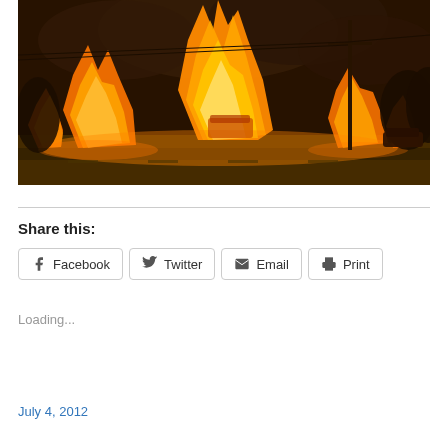[Figure (photo): Nighttime photograph of a large fire with massive orange and yellow flames engulfing vehicles and structures along a road, with power lines and a utility pole visible against a dark smoky sky]
Share this:
Facebook  Twitter  Email  Print
Loading...
July 4, 2012